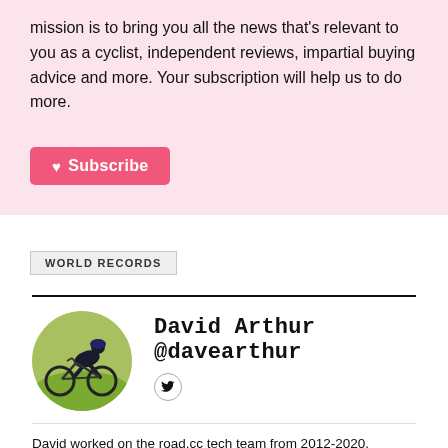mission is to bring you all the news that's relevant to you as a cyclist, independent reviews, impartial buying advice and more. Your subscription will help us to do more.
♥ Subscribe
WORLD RECORDS
David Arthur @davearthur
[Figure (photo): Circular profile photo of David Arthur, a cyclist riding a road bike on green grass.]
David worked on the road.cc tech team from 2012-2020. Previously he